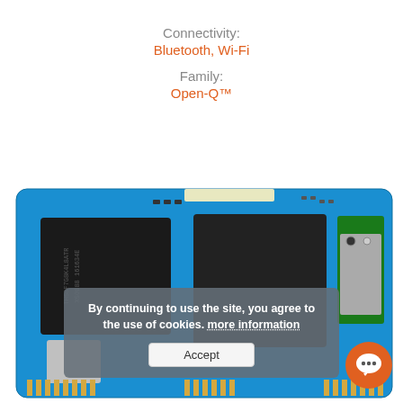Connectivity:
Bluetooth, Wi-Fi
Family:
Open-Q™
[Figure (photo): Top-down photograph of a blue circuit board (Open-Q system-on-module) showing multiple chips including memory and wireless module, with gold edge connectors and various SMD components.]
By continuing to use the site, you agree to the use of cookies. more information
Accept